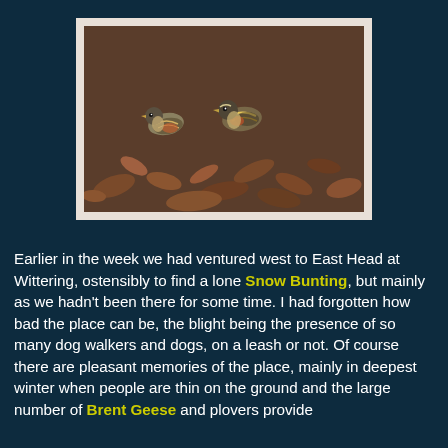[Figure (photo): Two small birds (brambling or similar finch species) foraging on the ground among brown fallen leaves and dirt]
Earlier in the week we had ventured west to East Head at Wittering, ostensibly to find a lone Snow Bunting, but mainly as we hadn't been there for some time. I had forgotten how bad the place can be, the blight being the presence of so many dog walkers and dogs, on a leash or not. Of course there are pleasant memories of the place, mainly in deepest winter when people are thin on the ground and the large number of Brent Geese and plovers provide